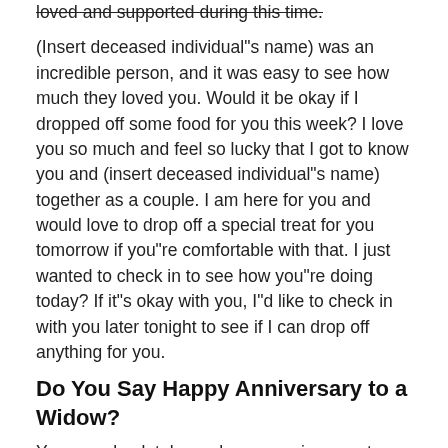loved and supported during this time.
(Insert deceased individual"s name) was an incredible person, and it was easy to see how much they loved you. Would it be okay if I dropped off some food for you this week? I love you so much and feel so lucky that I got to know you and (insert deceased individual"s name) together as a couple. I am here for you and would love to drop off a special treat for you tomorrow if you"re comfortable with that. I just wanted to check in to see how you"re doing today? If it"s okay with you, I"d like to check in with you later tonight to see if I can drop off anything for you.
Do You Say Happy Anniversary to a Widow?
You can absolutely say happy anniversary to someone who lost a partner, but it should be phrased in a more sensitive and supportive way. For